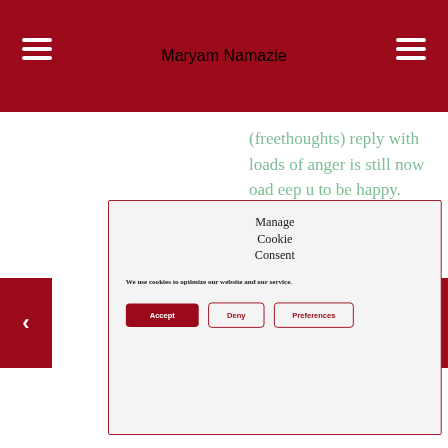Maryam Namazie
(freethoughts) reply with loads of anger is still now oad eep u to be happy.
[Figure (screenshot): Cookie consent modal dialog with title 'Manage Cookie Consent', body text 'We use cookies to optimize our website and our service.', and three buttons: Accept, Deny, Preferences]
Accept
Deny
Preferences